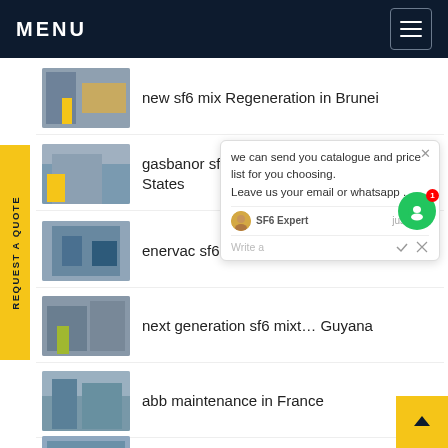MENU
new sf6 mix Regeneration in Brunei
gasbanor sf6 gas Maintenance in United States
enervac sf6 n2 filling in L...
next generation sf6 mix... Guyana
abb maintenance in France
Advantages of valves in North Ame...
we can send you catalogue and price list for you choosing. Leave us your email or whatsapp .
SF6 Expert   just now
Write a